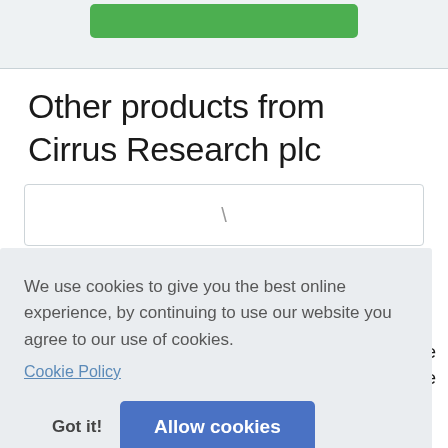[Figure (screenshot): Green button partially visible at top of page on light grey banner background]
Other products from Cirrus Research plc
[Figure (screenshot): Cookie consent banner overlay with text about cookies, a Cookie Policy link, a Got it! button, and an Allow cookies button]
We use cookies to give you the best online experience, by continuing to use our website you agree to our use of cookies.
Cookie Policy
Got it!
Allow cookies
The se